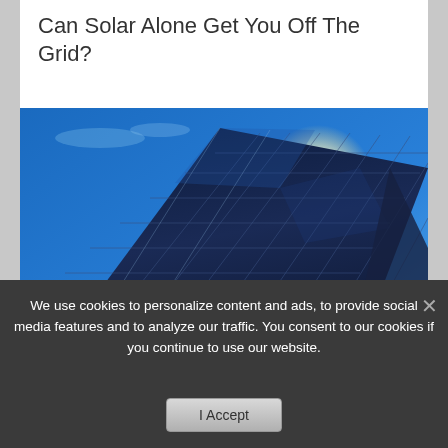Can Solar Alone Get You Off The Grid?
[Figure (photo): Solar panels angled toward the sky with bright sunlight and blue sky in the background]
The Must Have Sine Wave Inverter, The Real Secret To Solar Power
We use cookies to personalize content and ads, to provide social media features and to analyze our traffic. You consent to our cookies if you continue to use our website.